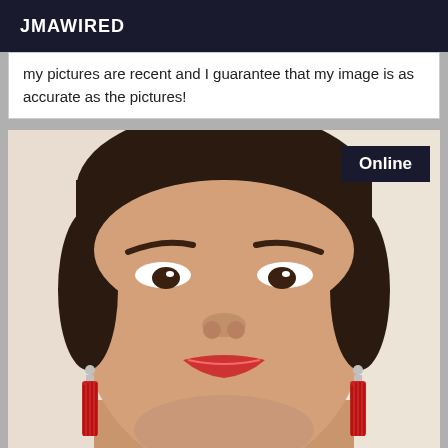JMAWIRED
my pictures are recent and I guarantee that my image is as accurate as the pictures!
[Figure (photo): Close-up selfie photo of a woman with dark hair pulled back, wearing large red tassel earrings, with an 'Online' badge in the top right corner of the photo.]